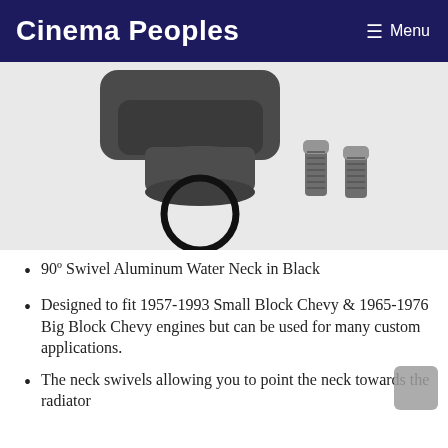Cinema Peoples   ≡ Menu
[Figure (photo): Product photo showing a 90-degree swivel aluminum water neck in black (with an O-ring visible at the bottom) and two small black socket-head cap screws beside it, on a white background.]
90º Swivel Aluminum Water Neck in Black
Designed to fit 1957-1993 Small Block Chevy & 1965-1976 Big Block Chevy engines but can be used for many custom applications.
The neck swivels allowing you to point the neck towards the radiator